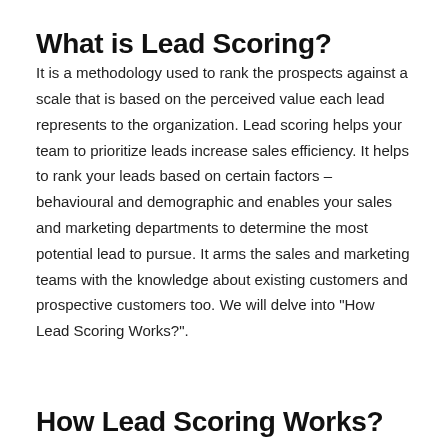What is Lead Scoring?
It is a methodology used to rank the prospects against a scale that is based on the perceived value each lead represents to the organization. Lead scoring helps your team to prioritize leads increase sales efficiency. It helps to rank your leads based on certain factors – behavioural and demographic and enables your sales and marketing departments to determine the most potential lead to pursue. It arms the sales and marketing teams with the knowledge about existing customers and prospective customers too. We will delve into "How Lead Scoring Works?".
How Lead Scoring Works?